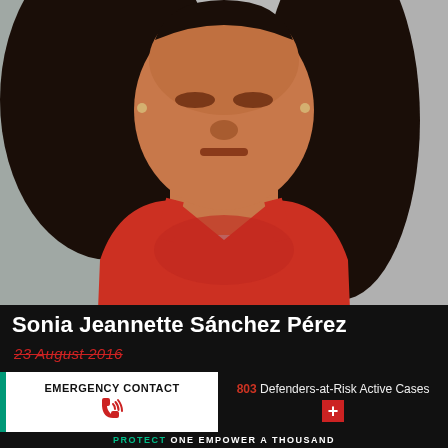[Figure (photo): Portrait photo of Sonia Jeannette Sánchez Pérez, a woman with long dark hair wearing a red sleeveless top, against a grey background.]
Sonia Jeannette Sánchez Pérez
23 August 2016
EMERGENCY CONTACT
803 Defenders-at-Risk Active Cases
PROTECT ONE EMPOWER A THOUSAND